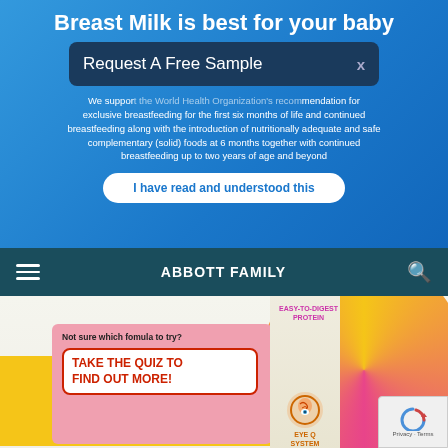Breast Milk is best for your baby
[Figure (screenshot): Modal dialog bar reading 'Request A Free Sample' with X close button, overlaid on blue background]
We support the World Health Organization's recommendation for exclusive breastfeeding for the first six months of life and continued breastfeeding along with the introduction of nutritionally adequate and safe complementary (solid) foods at 6 months together with continued breastfeeding up to two years of age and beyond
I have read and understood this
ABBOTT FAMILY
EASY-TO-DIGEST PROTEIN
Not sure which fomula to try?
TAKE THE QUIZ TO FIND OUT MORE!
EYE Q SYSTEM